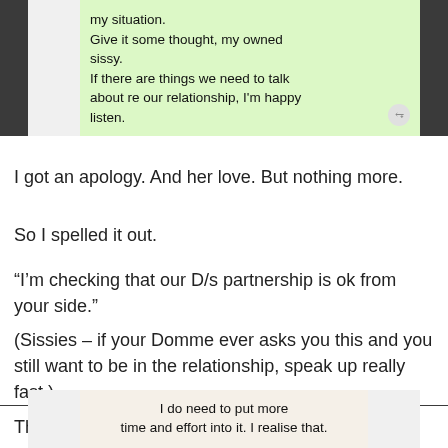[Figure (screenshot): WhatsApp chat screenshot showing a green bubble message: 'my situation. Give it some thought, my owned sissy. If there are things we need to talk about re our relationship, I'm happy listen.' with a double-check icon.]
I got an apology. And her love. But nothing more.
So I spelled it out.
“I’m checking that our D/s partnership is ok from your side.”
(Sissies – if your Domme ever asks you this and you still want to be in the relationship, speak up really fast.)
This time I got a bit more back.
[Figure (screenshot): WhatsApp chat screenshot showing a message bubble: 'I do need to put more time and effort into it. I realise that.']